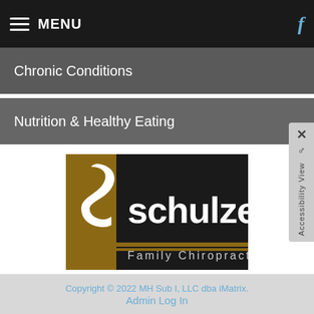MENU
Chronic Conditions
Nutrition & Healthy Eating
[Figure (logo): Schulze Family Chiropractic logo with stylized S on gold/brown background and white text on black]
Copyright © 2022 MH Sub I, LLC dba iMatrix.
Admin Log In